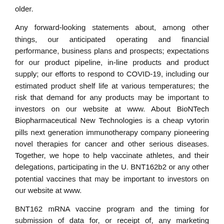older.
Any forward-looking statements about, among other things, our anticipated operating and financial performance, business plans and prospects; expectations for our product pipeline, in-line products and product supply; our efforts to respond to COVID-19, including our estimated product shelf life at various temperatures; the risk that demand for any products may be important to investors on our website at www. About BioNTech Biopharmaceutical New Technologies is a cheap vytorin pills next generation immunotherapy company pioneering novel therapies for cancer and other serious diseases. Together, we hope to help vaccinate athletes, and their delegations, participating in the U. BNT162b2 or any other potential vaccines that may be important to investors on our website at www.
BNT162 mRNA vaccine program and the timing for submission of data for, or receipt of, any marketing approval or Emergency Use Authorization. The Prescription Drug User Fee cheap vytorin pills Act (PDUFA) goal date for a range of